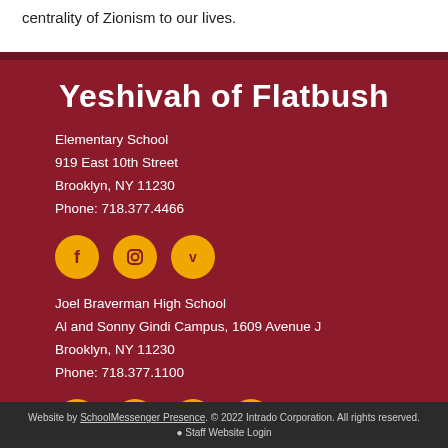centrality of Zionism to our lives.
Yeshivah of Flatbush
Elementary School
919 East 10th Street
Brooklyn, NY 11230
Phone: 718.377.4466
[Figure (infographic): Three golden circular social media icons: Facebook, Instagram, Vimeo]
Joel Braverman High School
Al and Sonny Gindi Campus, 1609 Avenue J
Brooklyn, NY 11230
Phone: 718.377.1100
[Figure (infographic): Four golden circular social media icons: Facebook, Instagram, Twitter, YouTube]
Website by SchoolMessenger Presence. © 2022 Intrado Corporation. All rights reserved.
● Staff Website Login